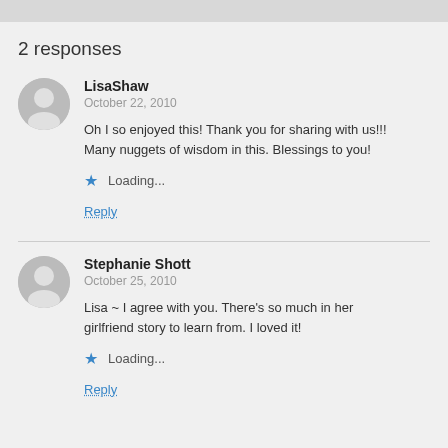2 responses
LisaShaw
October 22, 2010

Oh I so enjoyed this! Thank you for sharing with us!!! Many nuggets of wisdom in this. Blessings to you!

Loading...

Reply
Stephanie Shott
October 25, 2010

Lisa ~ I agree with you. There's so much in her girlfriend story to learn from. I loved it!

Loading...

Reply